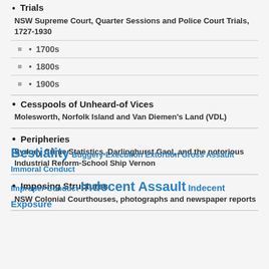Trials
NSW Supreme Court, Quarter Sessions and Police Court Trials, 1727-1930
1700s
1800s
1900s
Cesspools of Unheard-of Vices
Molesworth, Norfolk Island and Van Diemen’s Land (VDL)
Peripheries
Sydney Crime Statistics, Darlinghurst Gaol, and the notorious Industrial Reform-School Ship Vernon
Imposing Structures
NSW Colonial Courthouses, photographs and newspaper reports
Bestiality Buggery Execution Extortion Gross Assault Immoral Conduct Improper Conduct Indecent Assault Indecent Exposure